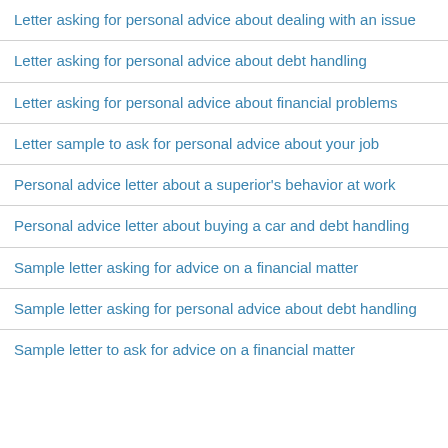Letter asking for personal advice about dealing with an issue
Letter asking for personal advice about debt handling
Letter asking for personal advice about financial problems
Letter sample to ask for personal advice about your job
Personal advice letter about a superior's behavior at work
Personal advice letter about buying a car and debt handling
Sample letter asking for advice on a financial matter
Sample letter asking for personal advice about debt handling
Sample letter to ask for advice on a financial matter